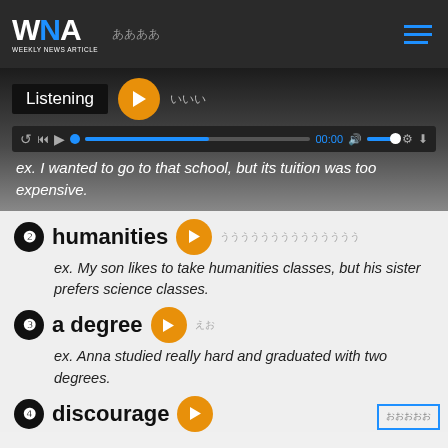Listen and repeat.
[Figure (screenshot): WNA Weekly News Article logo with navigation bar]
[Figure (screenshot): Audio player with Listening label and play controls showing example sentence: I wanted to go to that school, but its tuition was too expensive.]
2 humanities [play button] [Japanese translation] ex. My son likes to take humanities classes, but his sister prefers science classes.
3 a degree [play button] [Japanese translation] ex. Anna studied really hard and graduated with two degrees.
4 discourage [play button]